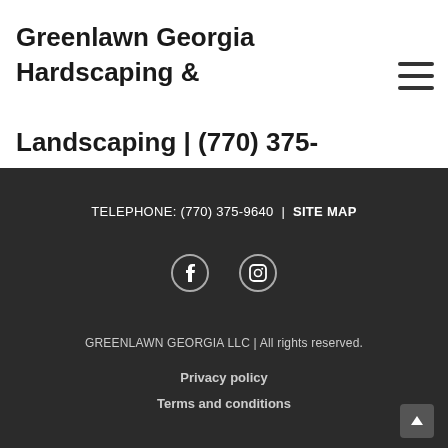Greenlawn Georgia Hardscaping & Landscaping | (770) 375-9640
TELEPHONE: (770) 375-9640 | SITE MAP
[Figure (other): Facebook and Instagram social media icons]
GREENLAWN GEORGIA LLC | All rights reserved.
Privacy policy
Terms and conditions